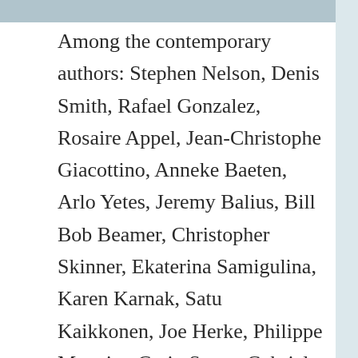Among the contemporary authors: Stephen Nelson, Denis Smith, Rafael Gonzalez, Rosaire Appel, Jean-Christophe Giacottino, Anneke Baeten, Arlo Yetes, Jeremy Balius, Bill Bob Beamer, Christopher Skinner, Ekaterina Samigulina, Karen Karnak, Satu Kaikkonen, Joe Herke, Philippe Magnier, Craig Svare, Gabriel Lalonde, Lucinda Sherlock, Kerry Pullo, Pat Bell, Carl Heyward, Cheryl Penn, Lina Stern, Michael Gatonska, Sam Roxas-Chua, Jeannette Cook, Laura Scaringi, Laura Wait, Carles Netto Luis, Miriam Midley, Nancy Burr, Reed Altemus, Sveta Litvak, Andrew Topel, Tim Gaze, and many others.